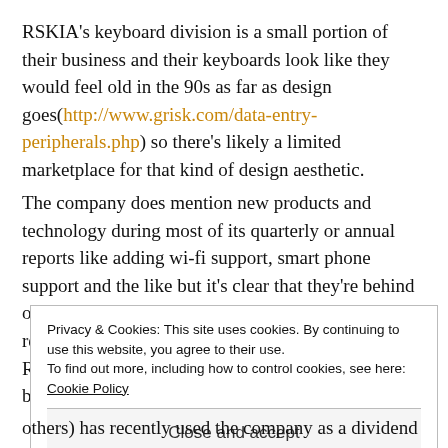RSKIA's keyboard division is a small portion of their business and their keyboards look like they would feel old in the 90s as far as design goes(http://www.grisk.com/data-entry-peripherals.php) so there's likely a limited marketplace for that kind of design aesthetic.
The company does mention new products and technology during most of its quarterly or annual reports like adding wi-fi support, smart phone support and the like but it's clear that they're behind on the modernization aspect on both sides of the revenue ball. The amount spent on R&D/Engineering each year is low which doesn't bode well
Privacy & Cookies: This site uses cookies. By continuing to use this website, you agree to their use.
To find out more, including how to control cookies, see here: Cookie Policy
Close and accept
others) has recently used the company as a dividend